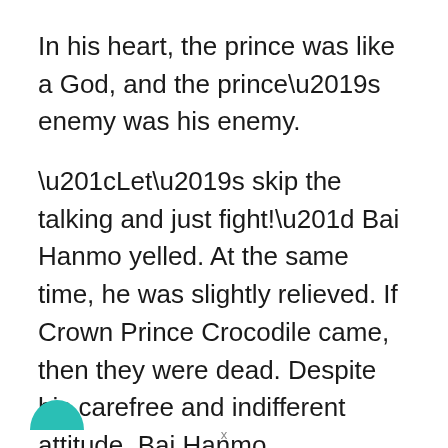In his heart, the prince was like a God, and the prince’s enemy was his enemy.
“Let’s skip the talking and just fight!” Bai Hanmo yelled. At the same time, he was slightly relieved. If Crown Prince Crocodile came, then they were dead. Despite his carefree and indifferent attitude, Bai Hanmo wasn’t an arrogant fool.
Among the younger generation, Crown Prince Crocodile was definitely at the